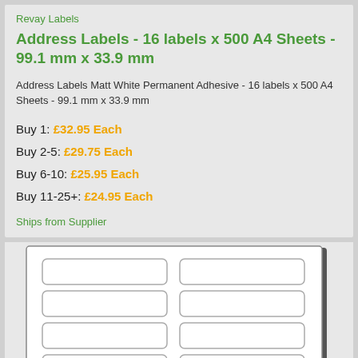Revay Labels
Address Labels - 16 labels x 500 A4 Sheets - 99.1 mm x 33.9 mm
Address Labels Matt White Permanent Adhesive - 16 labels x 500 A4 Sheets - 99.1 mm x 33.9 mm
Buy 1: £32.95 Each
Buy 2-5: £29.75 Each
Buy 6-10: £25.95 Each
Buy 11-25+: £24.95 Each
Ships from Supplier
[Figure (illustration): Image of an A4 label sheet showing 2 columns of rectangular address labels arranged in rows, with rounded corners on each label, displayed against a white background with a dark border.]